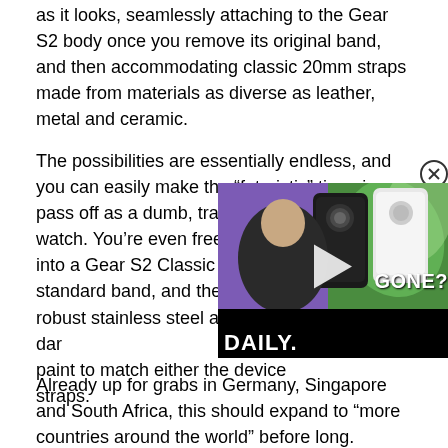as it looks, seamlessly attaching to the Gear S2 body once you remove its original band, and then accommodating classic 20mm straps made from materials as diverse as leather, metal and ceramic.
The possibilities are essentially endless, and you can easily make the “futuristic” timepiece pass off as a dumb, traditional, fashionable watch. You’re even free to turn your Gear S2 into a Gear S2 Classic with the latter’s standard band, and the low-key, lightweight but robust stainless steel adapter is available in dar... paint to match either the device... straps.
[Figure (screenshot): A video overlay thumbnail showing a man in a black shirt with phone devices and green swirl graphics, with text 'DAILY.' and 'GONE?' and a play button. A close (X) button is in the top right corner.]
Already up for grabs in Germany, Singapore and South Africa, this should expand to “more countries around the world” before long.